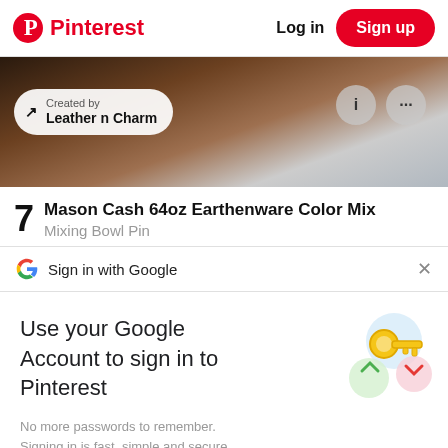Pinterest  Log in  Sign up
[Figure (screenshot): Dark image banner with 'Created by Leather n Charm' badge on the left and two circle buttons (i and ...) on the right]
7  Mason Cash 64oz Earthenware Color Mix
G  Sign in with Google  ×
Use your Google Account to sign in to Pinterest
No more passwords to remember. Signing in is fast, simple and secure.
[Figure (illustration): Google key illustration with colorful circles and a gold key]
Continue